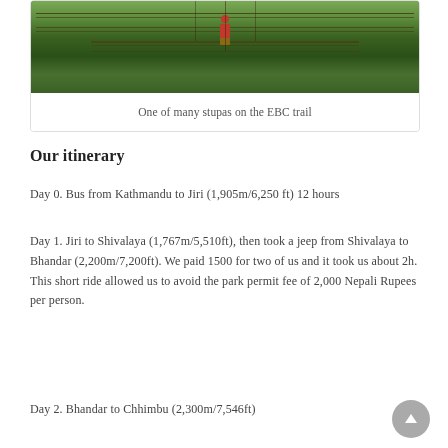[Figure (photo): Person crossing a rope/suspension bridge in a green forested mountain area, seen from a distance. The person wears a red backpack. Lush green vegetation and rope bridge structure visible.]
One of many stupas on the EBC trail
Our itinerary
Day 0. Bus from Kathmandu to Jiri (1,905m/6,250 ft) 12 hours
Day 1. Jiri to Shivalaya (1,767m/5,510ft), then took a jeep from Shivalaya to Bhandar (2,200m/7,200ft). We paid 1500 for two of us and it took us about 2h. This short ride allowed us to avoid the park permit fee of 2,000 Nepali Rupees per person.
Day 2. Bhandar to Chhimbu (2,300m/7,546ft)